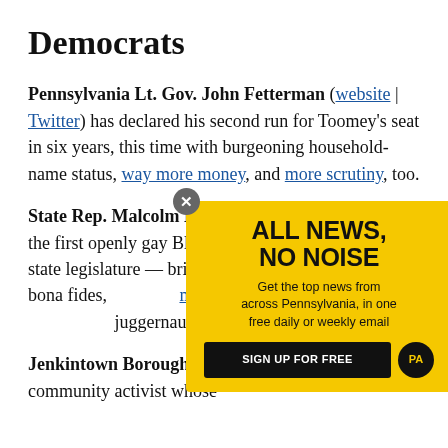Democrats
Pennsylvania Lt. Gov. John Fetterman (website | Twitter) has declared his second run for Toomey's seat in six years, this time with burgeoning household-name status, way more money, and more scrutiny, too.
State Rep. Malcolm Kenyatta (website | Twitter) — the first openly gay Black member to serve in the state legislature — brings fundraising, progressive bona fides, and viral moments to compete with a fundraising juggernaut.
[Figure (infographic): Yellow advertisement overlay for Pennsylvania news newsletter. Headline: ALL NEWS, NO NOISE. Subtext: Get the top news from across Pennsylvania, in one free daily or weekly email. Button: SIGN UP FOR FREE with PA logo.]
Jenkintown Borough Council (website | Twitter) is a community activist whose